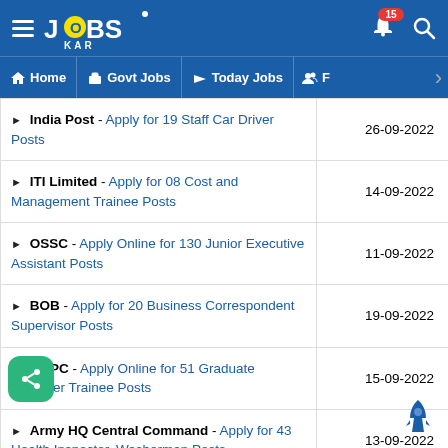JOBS KAR - Home | Govt Jobs | Today Jobs
| Job Listing | Date |
| --- | --- |
| India Post - Apply for 19 Staff Car Driver Posts | 26-09-2022 |
| ITI Limited - Apply for 08 Cost and Management Trainee Posts | 14-09-2022 |
| OSSC - Apply Online for 130 Junior Executive Assistant Posts | 11-09-2022 |
| BOB - Apply for 20 Business Correspondent Supervisor Posts | 19-09-2022 |
| OHPC - Apply Online for 51 Graduate Engineer Trainee Posts | 15-09-2022 |
| Army HQ Central Command - Apply for 43 Health Inspector, Washerman Posts | 13-09-2022 |